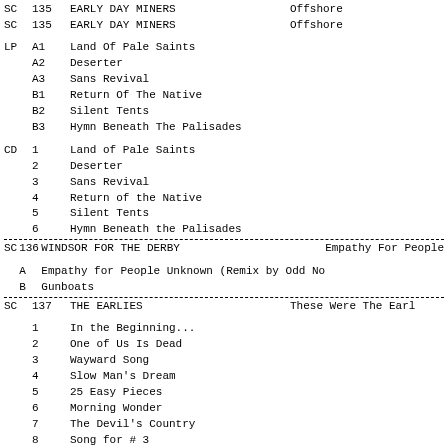| SC | 135 | EARLY DAY MINERS | Offshore |
| LP | A1 | Land Of Pale Saints |  |
|  | A2 | Deserter |  |
|  | A3 | Sans Revival |  |
|  | B1 | Return Of The Native |  |
|  | B2 | Silent Tents |  |
|  | B3 | Hymn Beneath The Palisades |  |
| CD | 1 | Land of Pale Saints |  |
|  | 2 | Deserter |  |
|  | 3 | Sans Revival |  |
|  | 4 | Return of the Native |  |
|  | 5 | Silent Tents |  |
|  | 6 | Hymn Beneath the Palisades |  |
| SC | 136 | WINDSOR FOR THE DERBY | Empathy For People |
|  | A | Empathy for People Unknown (Remix by Odd No |  |
|  | B | Gunboats |  |
| SC | 137 | THE EARLIES | These Were The Earl |
|  | 1 | In the Beginning... |  |
|  | 2 | One of Us Is Dead |  |
|  | 3 | Wayward Song |  |
|  | 4 | Slow Man's Dream |  |
|  | 5 | 25 Easy Pieces |  |
|  | 6 | Morning Wonder |  |
|  | 7 | The Devil's Country |  |
|  | 8 | Song for # 3 |  |
|  | 9 | Lows |  |